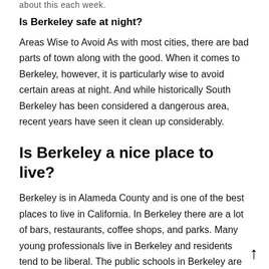about this each week.
Is Berkeley safe at night?
Areas Wise to Avoid As with most cities, there are bad parts of town along with the good. When it comes to Berkeley, however, it is particularly wise to avoid certain areas at night. And while historically South Berkeley has been considered a dangerous area, recent years have seen it clean up considerably.
Is Berkeley a nice place to live?
Berkeley is in Alameda County and is one of the best places to live in California. In Berkeley there are a lot of bars, restaurants, coffee shops, and parks. Many young professionals live in Berkeley and residents tend to be liberal. The public schools in Berkeley are highly rated.